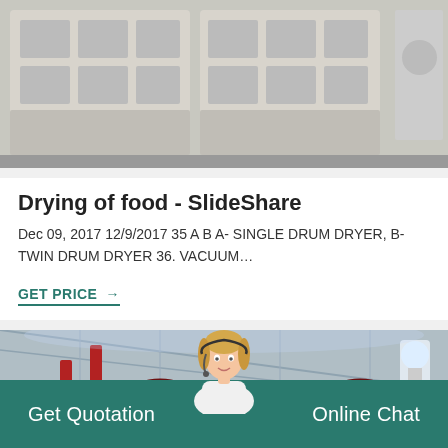[Figure (photo): Industrial machinery - jaw crusher or similar equipment, grey/white frame with compartments, close-up view]
Drying of food - SlideShare
Dec 09, 2017 12/9/2017 35 A B A- SINGLE DRUM DRYER, B-TWIN DRUM DRYER 36. VACUUM…
GET PRICE →
[Figure (photo): Industrial factory interior with large red and black flywheel machinery, jaw crushers, bright lighting]
Get Quotation
Online Chat